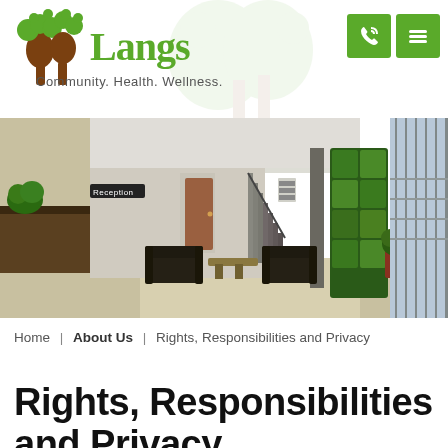[Figure (logo): Langs Community Health Wellness logo with tree icon and green text]
[Figure (photo): Interior photo of a modern health center lobby with reception desk, staircase, green living wall, leather sofas, and large windows]
Home | About Us | Rights, Responsibilities and Privacy
Rights, Responsibilities and Privacy